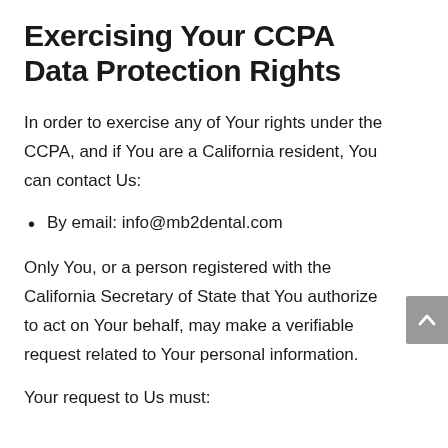Exercising Your CCPA Data Protection Rights
In order to exercise any of Your rights under the CCPA, and if You are a California resident, You can contact Us:
By email: info@mb2dental.com
Only You, or a person registered with the California Secretary of State that You authorize to act on Your behalf, may make a verifiable request related to Your personal information.
Your request to Us must: